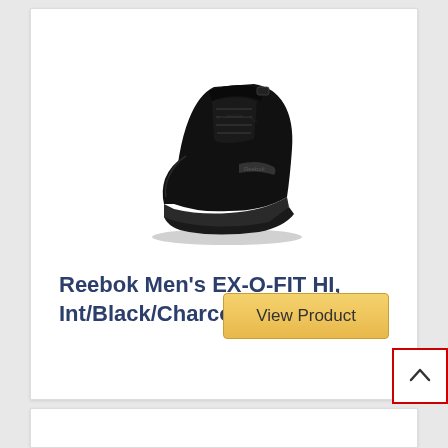[Figure (photo): Black Reebok high-top sneaker (EX-O-FIT HI) shown at an angle, all black leather upper with ankle strap and laces]
Reebok Men’s EX-O-FIT HI, Int/Black/Charcoal, 9.5 M US
View Product